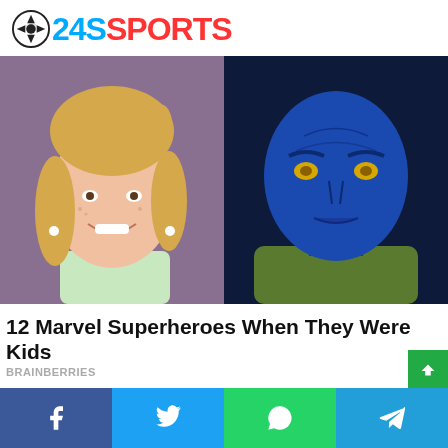24SSPORTS
[Figure (photo): Split image: left side shows a young blonde girl smiling (school photo style, light purple background), right side shows a blue-skinned Marvel character (Mystique/X-Men) with yellow eyes and scales.]
12 Marvel Superheroes When They Were Kids
BRAINBERRIES